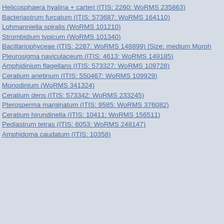Helicosphaera hyalina + carteri (ITIS: 2260: WoRMS 235863)
Bacteriastrum furcatum (ITIS: 573687: WoRMS 164110)
Lohmanniella spiralis (WoRMS 101210)
Strombidium typicum (WoRMS 101340)
Bacillariophyceae (ITIS: 2287: WoRMS 148899) [Size: medium Morph
Pleurosigma naviculaceum (ITIS: 4613: WoRMS 149185)
Amphidinium flagellans (ITIS: 573327: WoRMS 109728)
Ceratium arietinum (ITIS: 550467: WoRMS 109929)
Monodinium (WoRMS 341324)
Ceratium dens (ITIS: 573342: WoRMS 233245)
Pterosperma marginatum (ITIS: 9585: WoRMS 376082)
Ceratium hirundinella (ITIS: 10411: WoRMS 156511)
Pediastrum tetras (ITIS: 6053: WoRMS 248147)
Amphidoma caudatum (ITIS: 10358)